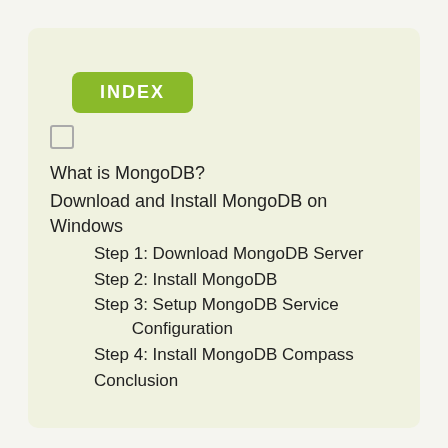INDEX
What is MongoDB?
Download and Install MongoDB on Windows
Step 1: Download MongoDB Server
Step 2: Install MongoDB
Step 3: Setup MongoDB Service Configuration
Step 4: Install MongoDB Compass
Conclusion